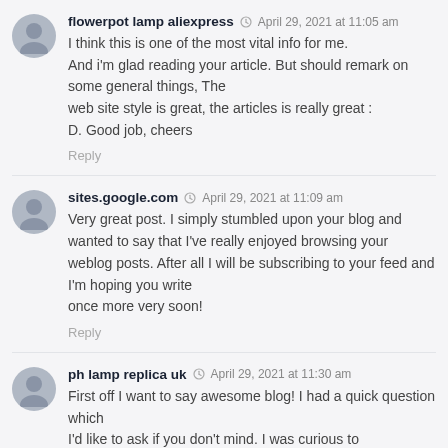flowerpot lamp aliexpress · April 29, 2021 at 11:05 am
I think this is one of the most vital info for me. And i'm glad reading your article. But should remark on some general things, The web site style is great, the articles is really great : D. Good job, cheers
Reply
sites.google.com · April 29, 2021 at 11:09 am
Very great post. I simply stumbled upon your blog and wanted to say that I've really enjoyed browsing your weblog posts. After all I will be subscribing to your feed and I'm hoping you write once more very soon!
Reply
ph lamp replica uk · April 29, 2021 at 11:30 am
First off I want to say awesome blog! I had a quick question which I'd like to ask if you don't mind. I was curious to find out how you center yourself and clear your head